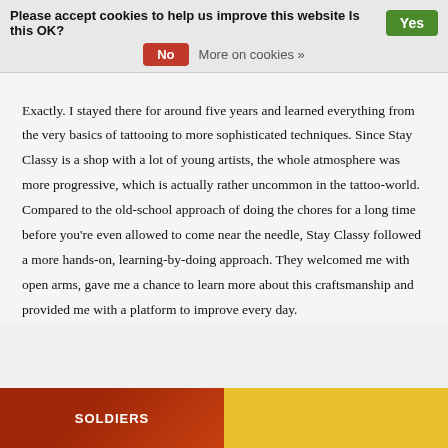Please accept cookies to help us improve this website Is this OK? Yes No More on cookies »
Exactly. I stayed there for around five years and learned everything from the very basics of tattooing to more sophisticated techniques. Since Stay Classy is a shop with a lot of young artists, the whole atmosphere was more progressive, which is actually rather uncommon in the tattoo-world. Compared to the old-school approach of doing the chores for a long time before you're even allowed to come near the needle, Stay Classy followed a more hands-on, learning-by-doing approach. They welcomed me with open arms, gave me a chance to learn more about this craftsmanship and provided me with a platform to improve every day.
[Figure (photo): Bottom strip showing two partial images: left side with red/orange tones and text 'SOLDIERS', right side with yellow background and a cartoon character.]